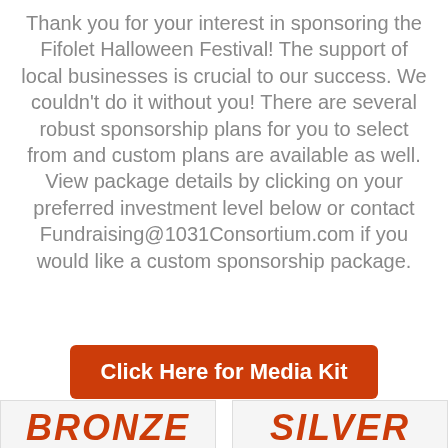Thank you for your interest in sponsoring the Fifolet Halloween Festival! The support of local businesses is crucial to our success. We couldn't do it without you! There are several robust sponsorship plans for you to select from and custom plans are available as well. View package details by clicking on your preferred investment level below or contact Fundraising@1031Consortium.com if you would like a custom sponsorship package.
[Figure (other): Orange button labeled 'Click Here for Media Kit']
[Figure (other): Bronze sponsorship card (partially visible at bottom left)]
[Figure (other): Silver sponsorship card (partially visible at bottom right)]